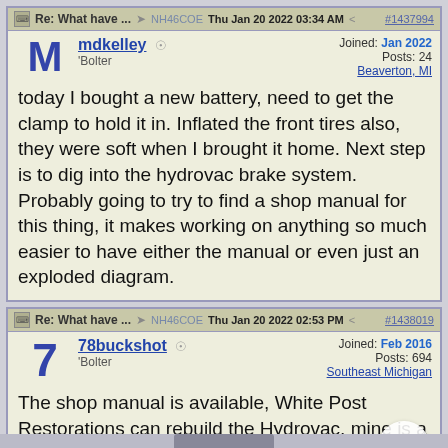Re: What have ... NH46COE Thu Jan 20 2022 03:34 AM #1437994
mdkelley · Bolter · Joined: Jan 2022 · Posts: 24 · Beaverton, MI
today I bought a new battery, need to get the clamp to hold it in. Inflated the front tires also, they were soft when I brought it home. Next step is to dig into the hydrovac brake system. Probably going to try to find a shop manual for this thing, it makes working on anything so much easier to have either the manual or even just an exploded diagram.
Re: What have ... NH46COE Thu Jan 20 2022 02:53 PM #1438019
78buckshot · Bolter · Joined: Feb 2016 · Posts: 694 · Southeast Michigan
The shop manual is available, White Post Restorations can rebuild the Hydrovac, mine is a Bendix 374000, yours's may be the same thing.